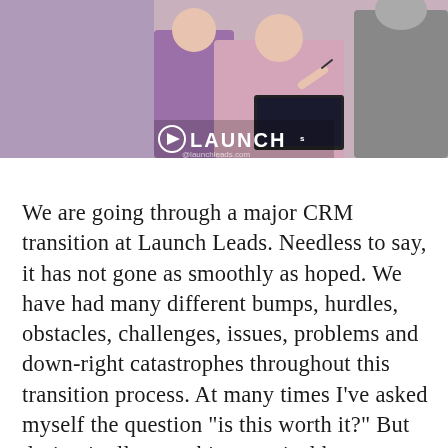[Figure (photo): Photo of people in a meeting or presentation setting with a LAUNCH logo overlay at bottom left]
We are going through a major CRM transition at Launch Leads. Needless to say, it has not gone as smoothly as hoped. We have had many different bumps, hurdles, obstacles, challenges, issues, problems and down-right catastrophes throughout this transition process. At many times I’ve asked myself the question “is this worth it?” But during it all, something magical has happened. I have watched people step up and